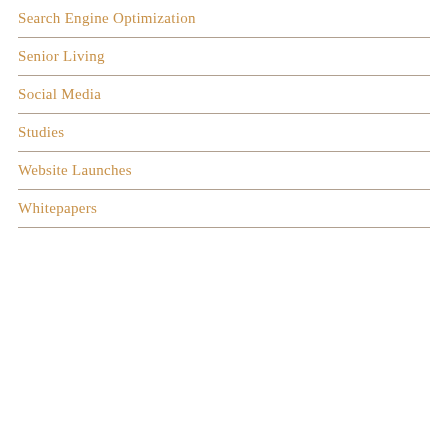Search Engine Optimization
Senior Living
Social Media
Studies
Website Launches
Whitepapers